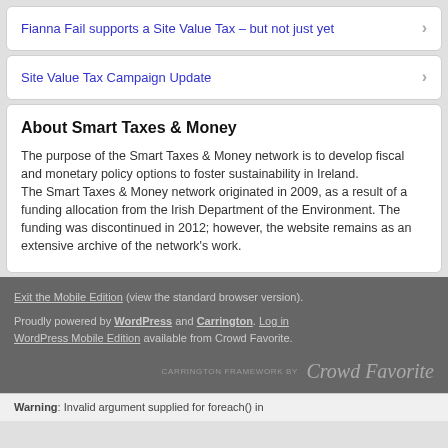Fianna Fail supports a Site Value Tax – but not just yet
Site Value Tax Campaign Update
About Smart Taxes & Money
The purpose of the Smart Taxes & Money network is to develop fiscal and monetary policy options to foster sustainability in Ireland.
The Smart Taxes & Money network originated in 2009, as a result of a funding allocation from the Irish Department of the Environment. The funding was discontinued in 2012; however, the website remains as an extensive archive of the network's work.
Exit the Mobile Edition (view the standard browser version). Proudly powered by WordPress and Carrington. Log in WordPress Mobile Edition available from Crowd Favorite. CARRINGTON FRAMEWORK BY Crowd Favorite
Warning: Invalid argument supplied for foreach() in